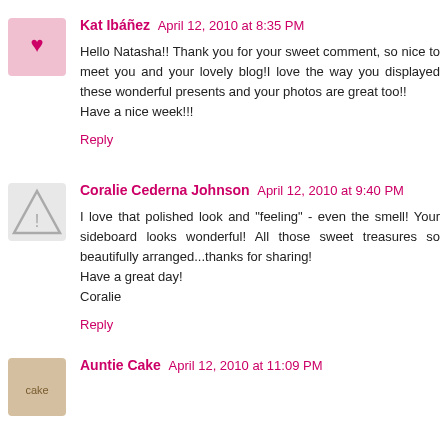Kat Ibáñez  April 12, 2010 at 8:35 PM
Hello Natasha!! Thank you for your sweet comment, so nice to meet you and your lovely blog!I love the way you displayed these wonderful presents and your photos are great too!!
Have a nice week!!!
Reply
Coralie Cederna Johnson  April 12, 2010 at 9:40 PM
I love that polished look and "feeling" - even the smell! Your sideboard looks wonderful! All those sweet treasures so beautifully arranged...thanks for sharing!
Have a great day!
Coralie
Reply
Auntie Cake  April 12, 2010 at 11:09 PM